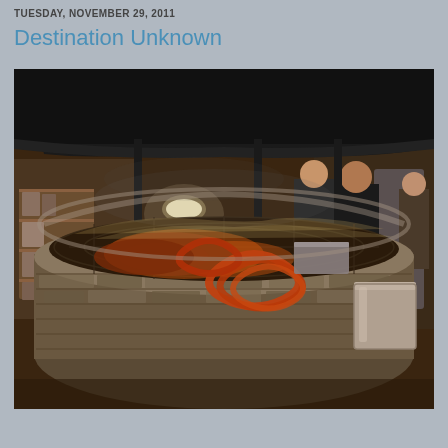TUESDAY, NOVEMBER 29, 2011
Destination Unknown
[Figure (photo): A large circular stone grill pit with a black metal roof canopy supported by black metal poles. Sausages and meats cook on the grill grate over an open fire. Workers are visible in the background in a commercial kitchen setting. A large metal bucket/pot sits on the right edge of the stone pit.]